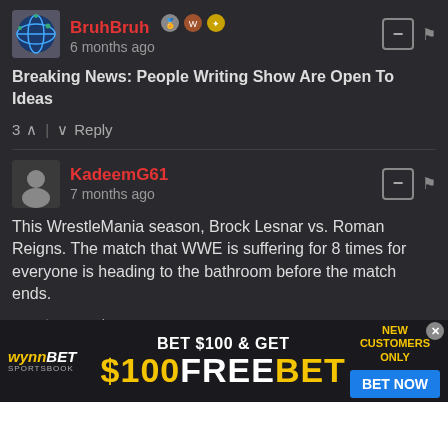BruhBruh · 6 months ago
Breaking News: People Writing Show Are Open To Ideas
3 ^ | v Reply
KadeemG61 · 7 months ago
This WrestleMania season, Brock Lesnar vs. Roman Reigns. The match that WWE is suffering for 8 times for everyone is heading to the bathroom before the match ends.
3 ^ | v Reply
Captain obvious · 7 months ago
Wish it austin vs lesnar. That match is money and theres so
[Figure (screenshot): WynnBET advertisement banner: BET $100 & GET $100 FREE BET. NEW CUSTOMERS ONLY. BET NOW button.]